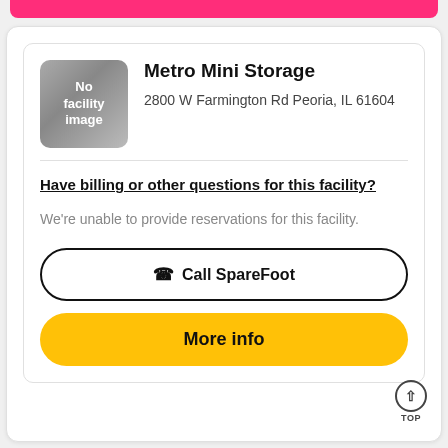[Figure (photo): Pink top bar button partially visible at top of page]
Metro Mini Storage
2800 W Farmington Rd Peoria, IL 61604
Have billing or other questions for this facility?
We're unable to provide reservations for this facility.
Call SpareFoot
More info